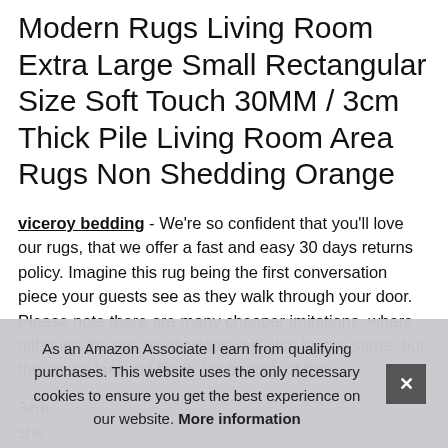Modern Rugs Living Room Extra Large Small Rectangular Size Soft Touch 30MM / 3cm Thick Pile Living Room Area Rugs Non Shedding Orange
viceroy bedding - We're so confident that you'll love our rugs, that we offer a fast and easy 30 days returns policy. Imagine this rug being the first conversation piece your guests see as they walk through your door. Please note there are many cheaper imitations, where although the pile height depth will also be the same, but the actual feel and finish / soft touch of the 3cm she meaning that it is inherently stain resistant. Imagine bringing
As an Amazon Associate I earn from qualifying purchases. This website uses the only necessary cookies to ensure you get the best experience on our website. More information